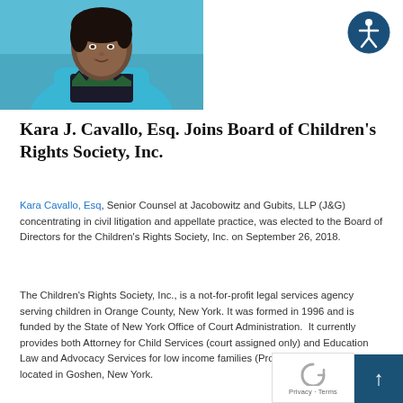[Figure (photo): Portrait photo of Kara J. Cavallo, Esq., a woman wearing a teal/blue blazer with a patterned black, white and green top, photographed outdoors.]
[Figure (illustration): Accessibility icon — circular dark blue button with white stick figure in standard accessibility pose.]
Kara J. Cavallo, Esq. Joins Board of Children's Rights Society, Inc.
Kara Cavallo, Esq, Senior Counsel at Jacobowitz and Gubits, LLP (J&G) concentrating in civil litigation and appellate practice, was elected to the Board of Directors for the Children's Rights Society, Inc. on September 26, 2018.
The Children's Rights Society, Inc., is a not-for-profit legal services agency serving children in Orange County, New York. It was formed in 1996 and is funded by the State of New York Office of Court Administration. It currently provides both Attorney for Child Services (court assigned only) and Education Law and Advocacy Services for low income families (Project SPEAK), and is located in Goshen, New York.